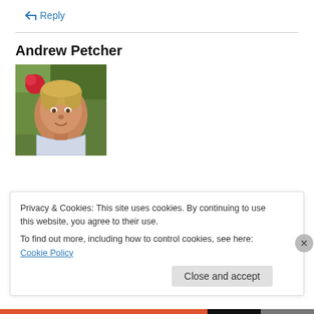↳ Reply
Andrew Petcher
[Figure (photo): Portrait photo of Andrew Petcher, a middle-aged man with short blond hair wearing a light plaid shirt, with green foliage and red flowers in the background.]
Privacy & Cookies: This site uses cookies. By continuing to use this website, you agree to their use.
To find out more, including how to control cookies, see here: Cookie Policy
Close and accept